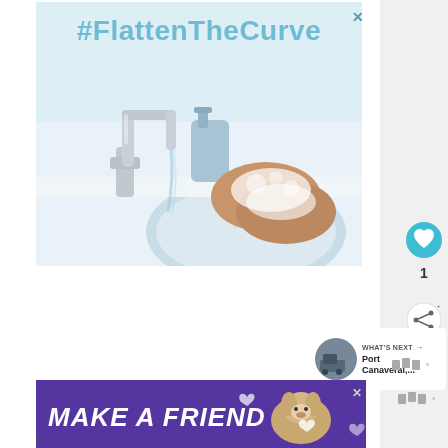[Figure (photo): Advertisement image showing person washing hands with soap at a white bathroom sink with a chrome faucet, with hashtag #FlattenTheCurve text at the top in teal/cyan color, with a small X close button in the top right corner]
[Figure (infographic): Heart/like button (teal circle with heart icon), like count '1', and share button (light circle with share icon) on the right sidebar]
WHAT'S NEXT →
Port Canaveral,...
[Figure (photo): Thumbnail image for 'What's Next' section showing Port Canaveral]
[Figure (logo): Wibbitz logo watermark]
[Figure (infographic): Bottom banner advertisement with purple/indigo background reading 'MAKE A FRIEND' in large white italic bold text, featuring a dog image and heart icons, with a close X button]